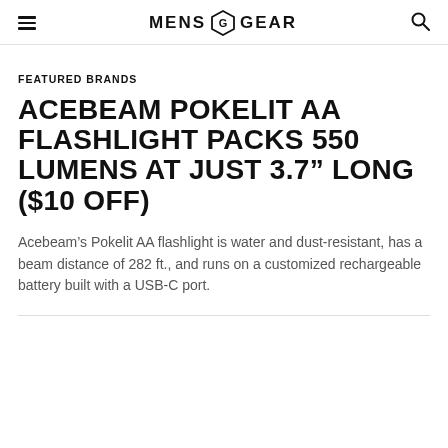MENS GEAR
FEATURED BRANDS
ACEBEAM POKELIT AA FLASHLIGHT PACKS 550 LUMENS AT JUST 3.7" LONG ($10 OFF)
Acebeam's Pokelit AA flashlight is water and dust-resistant, has a beam distance of 282 ft., and runs on a customized rechargeable battery built with a USB-C port.